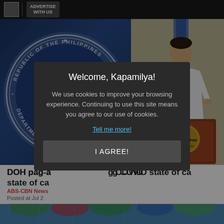ADVERTISE WITH US
[Figure (photo): Hero image showing the Republic of the Philippines Department of Health official seal on the left (dark blue background with circular seal), and a person in white barong tagalog speaking at a podium on the right, with Philippine flag visible]
DOH pag-a... g COVID state of ca...
ABS-CBN News
Posted at Jul 2...
[Figure (photo): Bottom strip showing people with colorful umbrellas in the rain]
Welcome, Kapamilya!
We use cookies to improve your browsing experience. Continuing to use this site means you agree to our use of cookies.
Tell me more!
I AGREE!